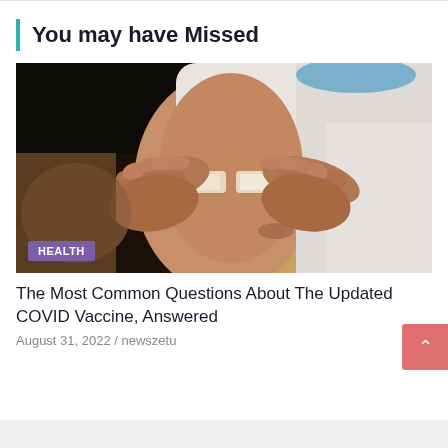You may have Missed
[Figure (photo): A healthcare worker applying bandages to a patient's upper arm after vaccination, with the patient wearing a white shirt and a blue surgical mask visible at top. Both the patient and the medical worker's hands are visible placing small bandage strips on the injection site.]
HEALTH
The Most Common Questions About The Updated COVID Vaccine, Answered
August 31, 2022 / newszetu